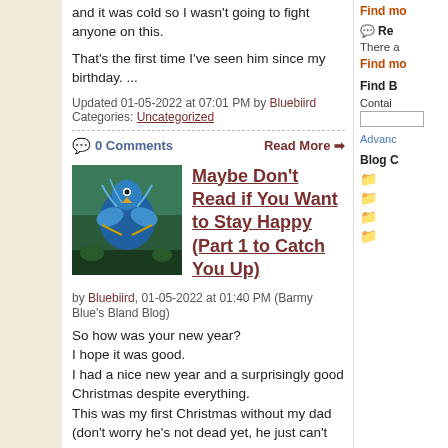and it was cold so I wasn't going to fight anyone on this.

That's the first time I've seen him since my birthday. ...
Updated 01-05-2022 at 07:01 PM by Bluebiird
Categories: Uncategorized
0 Comments
Read More ➡
[Figure (illustration): Colorful illustration with blue bird-like creature on dark background]
Maybe Don't Read if You Want to Stay Happy (Part 1 to Catch You Up)
by Bluebiird, 01-05-2022 at 01:40 PM (Barmy Blue's Bland Blog)
So how was your new year?
I hope it was good.
I had a nice new year and a surprisingly good Christmas despite everything.
This was my first Christmas without my dad (don't worry he's not dead yet, he just can't travel far) but that was for the best given that this is also the first Christmas that I'm finally in on "the big secret" that's been kept from me for
Find mo
Re
There a
Find mo
Find B
Contai
Advanc
Blog C